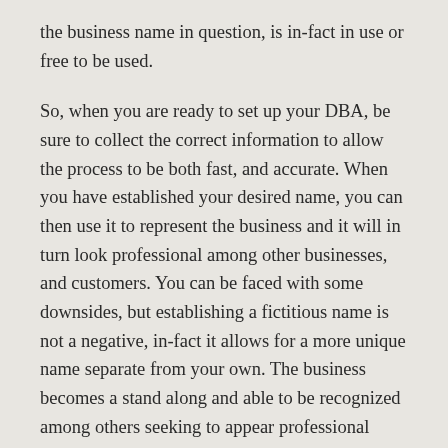the business name in question, is in-fact in use or free to be used.
So, when you are ready to set up your DBA, be sure to collect the correct information to allow the process to be both fast, and accurate. When you have established your desired name, you can then use it to represent the business and it will in turn look professional among other businesses, and customers. You can be faced with some downsides, but establishing a fictitious name is not a negative, in-fact it allows for a more unique name separate from your own. The business becomes a stand along and able to be recognized among others seeking to appear professional among those previously established, and the customers that associate with them and yourself.